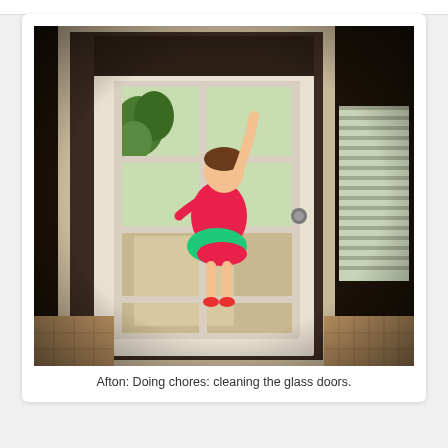[Figure (photo): A child in a pink outfit reaching up to clean the glass panels of a white French door, viewed from inside the house. The door has 8 glass panes arranged in a grid. Outside is a green yard with trees. To the right is another window with white blinds.]
Afton: Doing chores: cleaning the glass doors.